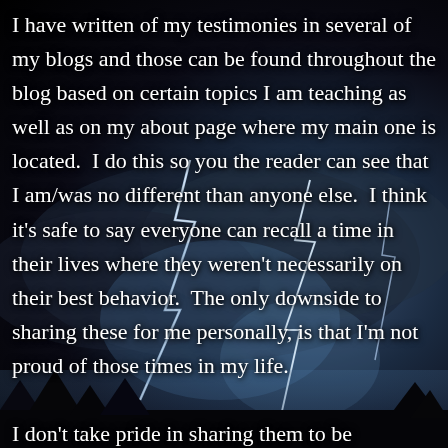[Figure (photo): Dark stormy night sky with dramatic lightning bolts striking in the background, with silhouetted trees at the bottom edge. The scene has dark blue-black tones with bright white-blue lightning illuminating storm clouds.]
I have written of my testimonies in several of my blogs and those can be found throughout the blog based on certain topics I am teaching as well as on my about page where my main one is located.  I do this so you the reader can see that I am/was no different than anyone else.  I think it’s safe to say everyone can recall a time in their lives where they weren’t necessarily on their best behavior.  The only downside to sharing these for me personally, is that I’m not proud of those times in my life.

I don’t take pride in sharing them to be completely honest, but I do so to show you that for as messy as